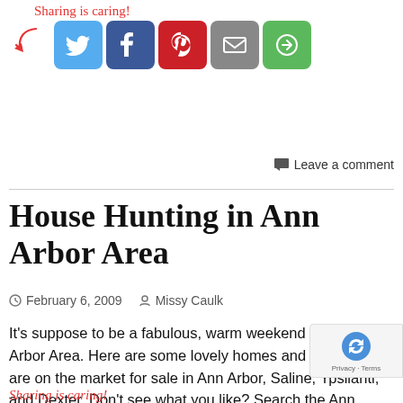[Figure (infographic): Sharing is caring social share buttons: Twitter (blue), Facebook (dark blue), Pinterest (red), Email (gray), More (green), with handwritten red cursive label and red arrow]
Leave a comment
House Hunting in Ann Arbor Area
February 6, 2009   Missy Caulk
It's suppose to be a fabulous, warm weekend in the Ann Arbor Area. Here are some lovely homes and condo's that are on the market for sale in Ann Arbor, Saline, Ypsilanti, and Dexter. Don't see what you like? Search the Ann Arbor Area MLS Listings with Google Maps, Google Satellite Images and multiple phot…